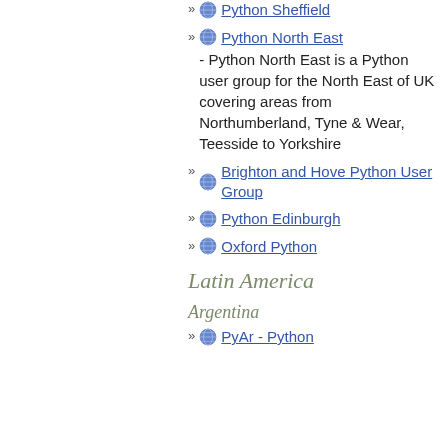Python Sheffield
Python North East - Python North East is a Python user group for the North East of UK covering areas from Northumberland, Tyne & Wear, Teesside to Yorkshire
Brighton and Hove Python User Group
Python Edinburgh
Oxford Python
Latin America
Argentina
PyAr - Python Argentina